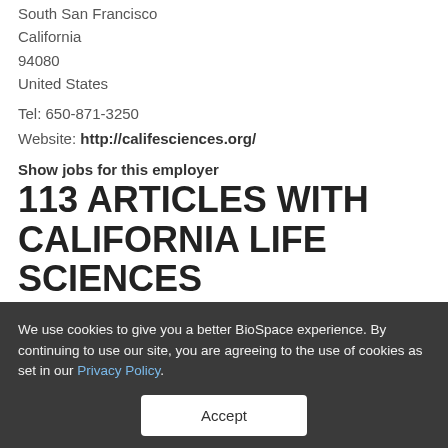South San Francisco
California
94080
United States
Tel: 650-871-3250
Website: http://califesciences.org/
Show jobs for this employer
113 ARTICLES WITH CALIFORNIA LIFE SCIENCES ASSOCIATION
We use cookies to give you a better BioSpace experience. By continuing to use our site, you are agreeing to the use of cookies as set in our Privacy Policy.